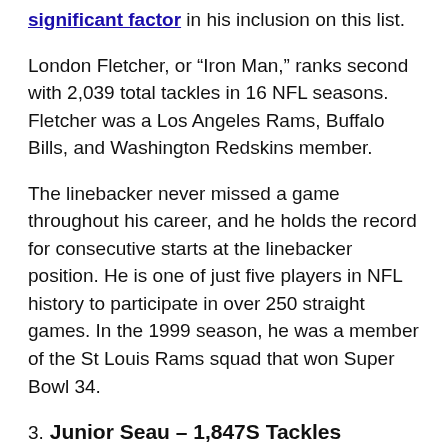significant factor in his inclusion on this list.
London Fletcher, or “Iron Man,” ranks second with 2,039 total tackles in 16 NFL seasons. Fletcher was a Los Angeles Rams, Buffalo Bills, and Washington Redskins member.
The linebacker never missed a game throughout his career, and he holds the record for consecutive starts at the linebacker position. He is one of just five players in NFL history to participate in over 250 straight games. In the 1999 season, he was a member of the St Louis Rams squad that won Super Bowl 34.
3. Junior Seau – 1,847S Tackles
Junior Seau, the late great, has the third-most